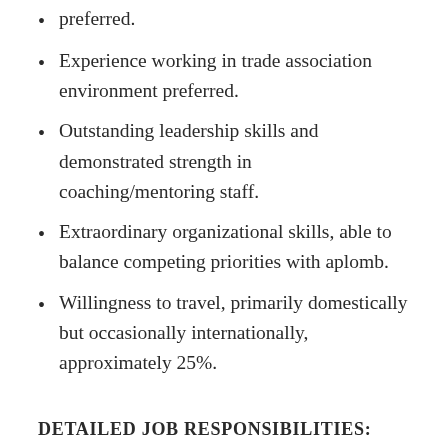preferred.
Experience working in trade association environment preferred.
Outstanding leadership skills and demonstrated strength in coaching/mentoring staff.
Extraordinary organizational skills, able to balance competing priorities with aplomb.
Willingness to travel, primarily domestically but occasionally internationally, approximately 25%.
DETAILED JOB RESPONSIBILITIES: